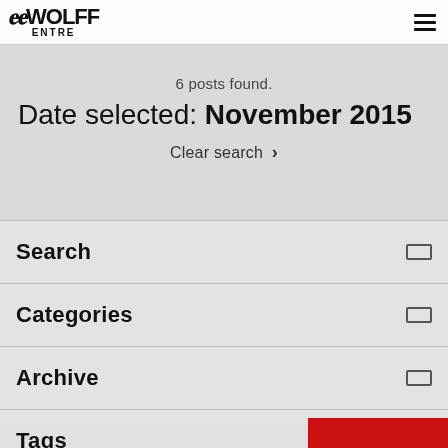EdoWOLFF ENTRE
6 posts found.
Date selected: November 2015
Clear search ›
Search
Categories
Archive
Tags